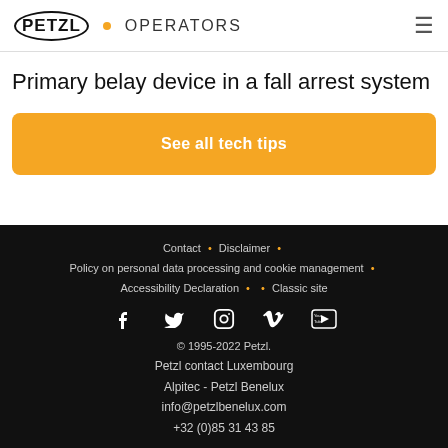PETZL • OPERATORS
Primary belay device in a fall arrest system
See all tech tips
Contact • Disclaimer • Policy on personal data processing and cookie management • Accessibility Declaration • • Classic site
© 1995-2022 Petzl.
Petzl contact Luxembourg
Alpitec - Petzl Benelux
info@petzlbenelux.com
+32 (0)85 31 43 85